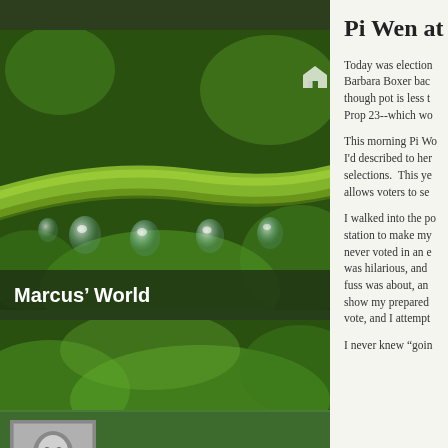[Figure (photo): Close-up photo of green plant stem with water droplets hanging from it, bokeh green background]
Marcus' World
[Figure (photo): Green bokeh/plant background photo strip]
[Figure (photo): Black and white portrait photo of Marcus, a smiling man]
Marcus
1 FOLLOWING  1 FOLLOWERS  Follow
Pi Wen at
Today was election day... Barbara Boxer bac... though pot is less t... Prop 23--which wo...
This morning Pi Wo... I'd described to her... selections.  This ye... allows voters to se...
I walked into the po... station to make my... never voted in an e... was hilarious, and ... fuss was about, an... show my prepared... vote, and I attempt...
I never knew "goin...